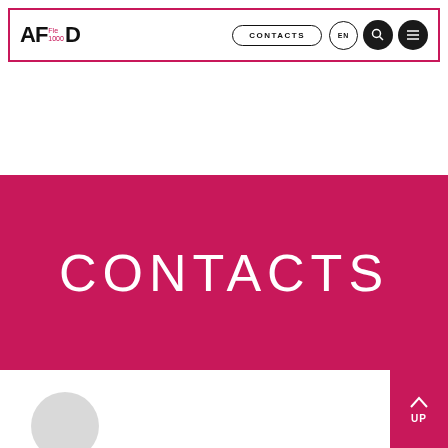AF 1000 | CONTACTS | EN | Search | Menu
CONTACTS
[Figure (other): Partially visible person photo at the bottom of the page, showing head/shoulders]
UP